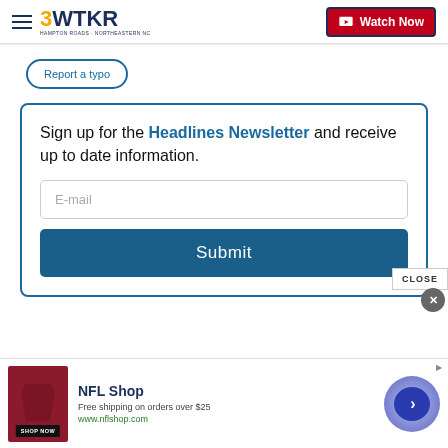3WTKR | Watch Now
Report a typo
Sign up for the Headlines Newsletter and receive up to date information.
[Figure (screenshot): Email input field with placeholder text 'E-mail' and a blue Submit button below it]
[Figure (infographic): NFL Shop advertisement banner. Shows NFL shop logo, text 'Free shipping on orders over $25', 'www.nflshop.com', and a SHOP NOW button. Includes a close button and navigation arrow.]